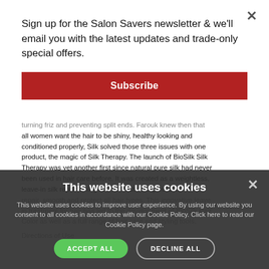Sign up for the Salon Savers newsletter & we'll email you with the latest updates and trade-only special offers.
Subscribe
turning friz and preventing split ends. Farouk knew then that all women want the hair to be shiny, healthy looking and conditioned properly, Silk solved those three issues with one product, the magic of Silk Therapy. The launch of BioSilk Silk Therapy was yet another first since natural pure silk had never been used in hair care before. It was created as a weightless, leave-in silk replenishing and reconstructing treatment to repair, smooth and protect all hair types. This innovative leave in treatment for hair has led to the development of BioSilk Hair Color as well as a full range of hair care and styling tools.
Directions of Use
This website uses cookies
This website uses cookies to improve user experience. By using our website you consent to all cookies in accordance with our Cookie Policy. Click here to read our Cookie Policy page.
ACCEPT ALL
DECLINE ALL